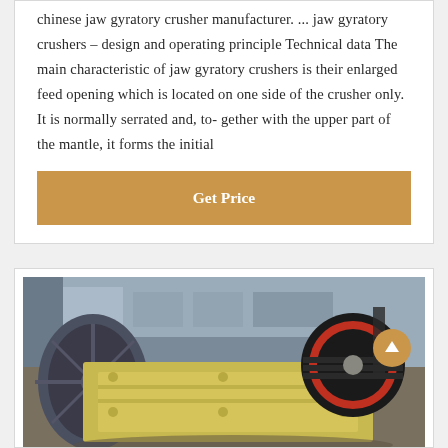chinese jaw gyratory crusher manufacturer. ... jaw gyratory crushers – design and operating principle Technical data The main characteristic of jaw gyratory crushers is their enlarged feed opening which is located on one side of the crusher only. It is normally serrated and, to- gether with the upper part of the mantle, it forms the initial
Get Price
[Figure (photo): Industrial jaw crusher machine painted yellow with black/red flywheels, photographed in a factory/warehouse setting. The machine is large, heavy-duty with bolted construction.]